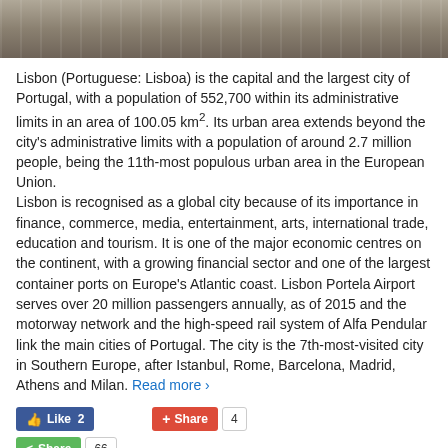[Figure (photo): Partial photo strip at the top of the page showing a grayscale/muted outdoor scene, appears to be a road or path]
Lisbon (Portuguese: Lisboa) is the capital and the largest city of Portugal, with a population of 552,700 within its administrative limits in an area of 100.05 km². Its urban area extends beyond the city's administrative limits with a population of around 2.7 million people, being the 11th-most populous urban area in the European Union. Lisbon is recognised as a global city because of its importance in finance, commerce, media, entertainment, arts, international trade, education and tourism. It is one of the major economic centres on the continent, with a growing financial sector and one of the largest container ports on Europe's Atlantic coast. Lisbon Portela Airport serves over 20 million passengers annually, as of 2015 and the motorway network and the high-speed rail system of Alfa Pendular link the main cities of Portugal. The city is the 7th-most-visited city in Southern Europe, after Istanbul, Rome, Barcelona, Madrid, Athens and Milan. Read more ›
[Figure (screenshot): Social sharing buttons: Facebook Like (2), Google+ Share (4), and green Share button (66)]